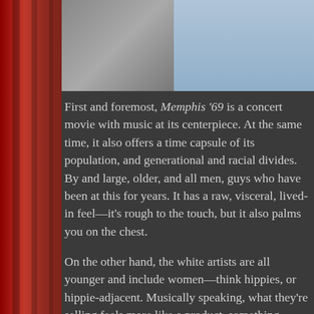[Figure (photo): Top portion of page showing a photograph strip — appears to show a person in a blue shirt against a light background]
First and foremost, Memphis '69 is a concert movie with music at its centerpiece. At the same time, it also offers a time capsule of its population, and generational and racial divides. By and large, older, and all men, guys who have been at this for years. It has a raw, visceral, lived-in feel—it's rough to the touch, but it also palms you on the chest.
On the other hand, the white artists are all younger and include women—think hippies, or hippie-adjacent. Musically speaking, what they're selling feels more like a product, something honed in classes rather than in clubs and on stages. They have their charms, but they largely lack the edge and weight and power. Some proudly wave a countercultural flag—one act openly smokes pot, a contextual reminder of the times.